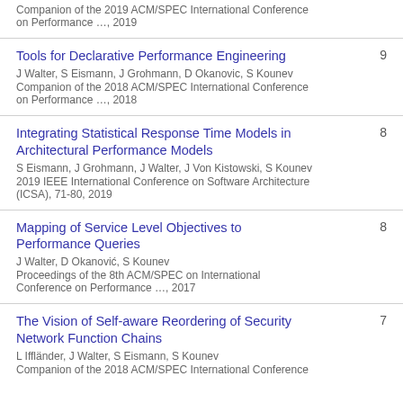Companion of the 2019 ACM/SPEC International Conference on Performance …, 2019
Tools for Declarative Performance Engineering
J Walter, S Eismann, J Grohmann, D Okanovic, S Kounev
Companion of the 2018 ACM/SPEC International Conference on Performance …, 2018
Integrating Statistical Response Time Models in Architectural Performance Models
S Eismann, J Grohmann, J Walter, J Von Kistowski, S Kounev
2019 IEEE International Conference on Software Architecture (ICSA), 71-80, 2019
Mapping of Service Level Objectives to Performance Queries
J Walter, D Okanović, S Kounev
Proceedings of the 8th ACM/SPEC on International Conference on Performance …, 2017
The Vision of Self-aware Reordering of Security Network Function Chains
L Iffländer, J Walter, S Eismann, S Kounev
Companion of the 2018 ACM/SPEC International Conference